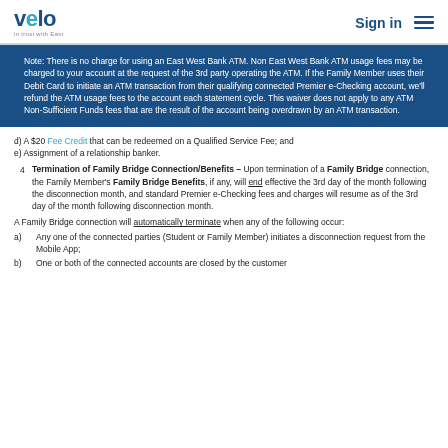velo | Sign in
Note: There is no charge for using an East West Bank ATM. Non East West Bank ATM usage fees may be charged to your account at the request of the 3rd party operating the ATM. If the Family Member uses their Debit Card to initiate an ATM transaction from their qualifying connected Premier e-Checking account, we'll refund the ATM usage fees to the account each statement cycle. This waiver does not apply to any ATM Non-Sufficient Funds fees that are the result of the account being overdrawn by an ATM transaction.
d) A $20 Fee Credit that can be redeemed on a Qualified Service Fee; and
e) Assignment of a relationship banker.
4 Termination of Family Bridge Connection/Benefits – Upon termination of a Family Bridge connection, the Family Member's Family Bridge Benefits, if any, will end effective the 3rd day of the month following the disconnection month, and standard Premier e-Checking fees and charges will resume as of the 3rd day of the month following disconnection month.
A Family Bridge connection will automatically terminate when any of the following occur:
a) Any one of the connected parties (Student or Family Member) initiates a disconnection request from the Mobile App;
b) One or both of the connected accounts are closed by the customer